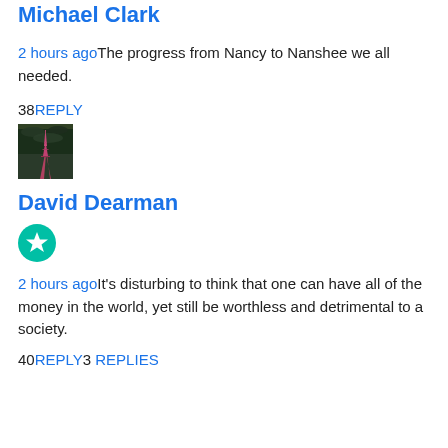Michael Clark
2 hours ago The progress from Nancy to Nanshee we all needed.
38 REPLY
[Figure (photo): Thumbnail photo of the Eiffel Tower at night with a dramatic green/dark sky]
David Dearman
[Figure (other): Teal circular badge with a white star icon]
2 hours ago It's disturbing to think that one can have all of the money in the world, yet still be worthless and detrimental to a society.
40 REPLY 3 REPLIES